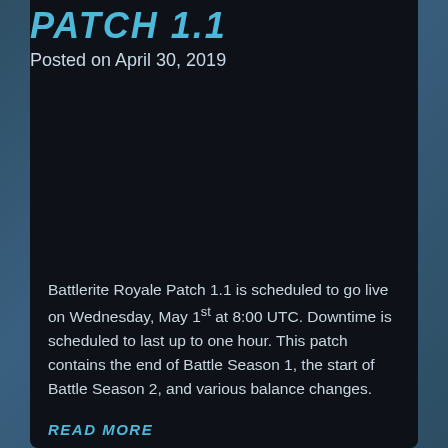PATCH 1.1
Posted on April 30, 2019
Battlerite Royale Patch 1.1 is scheduled to go live on Wednesday, May 1st at 8:00 UTC. Downtime is scheduled to last up to one hour. This patch contains the end of Battle Season 1, the start of Battle Season 2, and various balance changes.
READ MORE